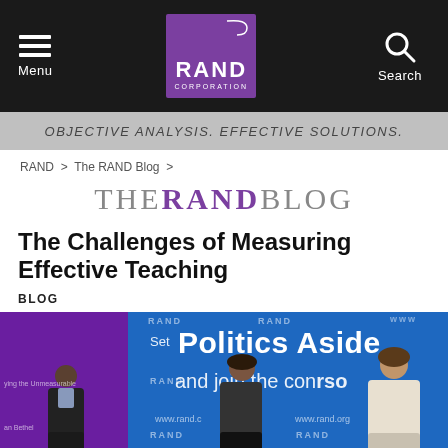Menu | RAND Corporation | Search
OBJECTIVE ANALYSIS. EFFECTIVE SOLUTIONS.
RAND > The RAND Blog >
THE RAND BLOG
The Challenges of Measuring Effective Teaching
BLOG
[Figure (photo): Panel discussion at a RAND event with three people seated on stage. Background shows a blue banner reading 'Set Politics Aside and join the conversation' with RAND logo and www.rand.org. A purple panel is visible on the left.]